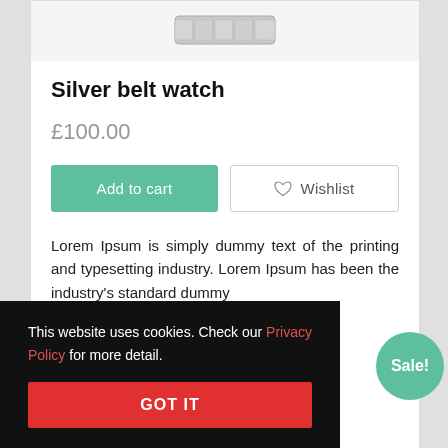[Figure (photo): Silver metal watch band/bracelet product image, showing linked metal segments, partially visible at top of page]
Silver belt watch
£100.00
Add to cart
Wishlist
Lorem Ipsum is simply dummy text of the printing and typesetting industry. Lorem Ipsum has been the industry's standard dummy
This website uses cookies. Check our Privacy Policy for more detail.
GOT IT
Sale!